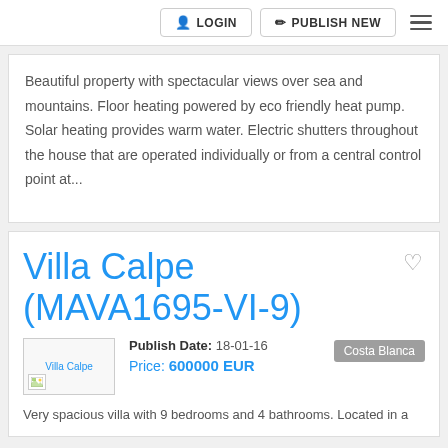LOGIN  PUBLISH NEW
Beautiful property with spectacular views over sea and mountains. Floor heating powered by eco friendly heat pump. Solar heating provides warm water. Electric shutters throughout the house that are operated individually or from a central control point at...
Villa Calpe (MAVA1695-VI-9)
Publish Date: 18-01-16  Price: 600000 EUR  Costa Blanca
Very spacious villa with 9 bedrooms and 4 bathrooms. Located in a